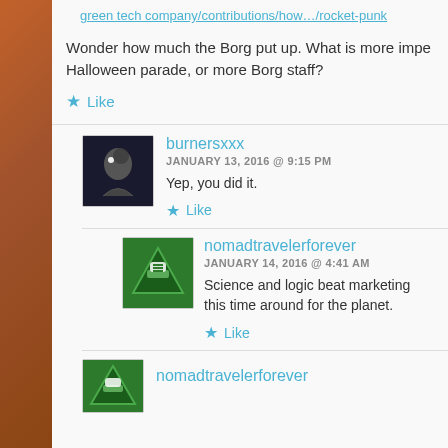green tech company/contributions/how…/rocket-punk
Wonder how much the Borg put up. What is more imp… Halloween parade, or more Borg staff?
Like
burnersxxx
JANUARY 13, 2016 @ 9:15 PM
Yep, you did it.
Like
nomadtravelerforever
JANUARY 14, 2016 @ 4:41 AM
Science and logic beat marketing this time around for the planet.
Like
nomadtravelerforever